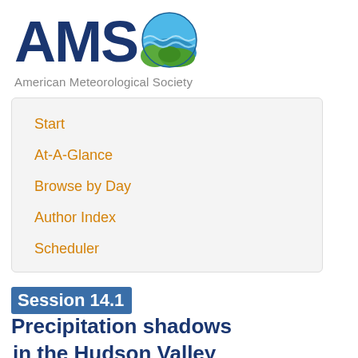[Figure (logo): AMS (American Meteorological Society) logo with globe graphic and text]
American Meteorological Society
Start
At-A-Glance
Browse by Day
Author Index
Scheduler
Session 14.1 Precipitation shadows in the Hudson Valley
Thursday, 24 June 2004: 1:30 PM
More